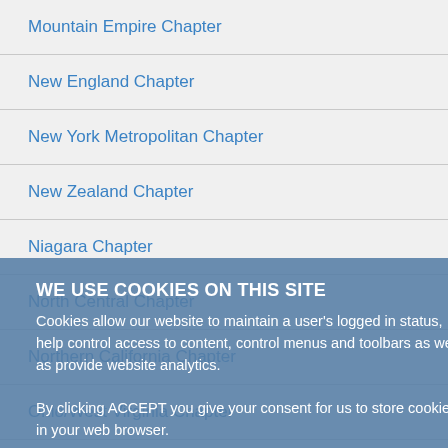Mountain Empire Chapter
New England Chapter
New York Metropolitan Chapter
New Zealand Chapter
Niagara Chapter
North Central Chapter
Northern California Chapter
Ohio/West Virginia Chapter
Ontario Chapter
Pacific Northwest Chapter
Quaker City Chapter
WE USE COOKIES ON THIS SITE
Cookies allow our website to maintain a user's logged in status, help control access to content, control menus and toolbars as well as provide website analytics.
By clicking ACCEPT you give your consent for us to store cookies in your web browser.
VIEW EASA'S PRIVACY POLICY
Accept